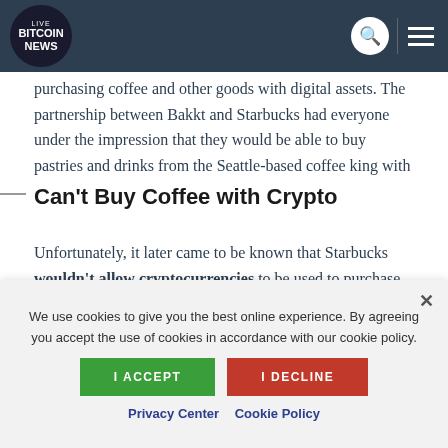LIVE BITCOIN NEWS
purchasing coffee and other goods with digital assets. The partnership between Bakkt and Starbucks had everyone under the impression that they would be able to buy pastries and drinks from the Seattle-based coffee king with bitcoin.
Can't Buy Coffee with Crypto
Unfortunately, it later came to be known that Starbucks wouldn't allow cryptocurrencies to be used to purchase goods from its stores, and that the partnership was with Bakkt according to
We use cookies to give you the best online experience. By agreeing you accept the use of cookies in accordance with our cookie policy.
I ACCEPT | I DECLINE
Privacy Center   Cookie Policy